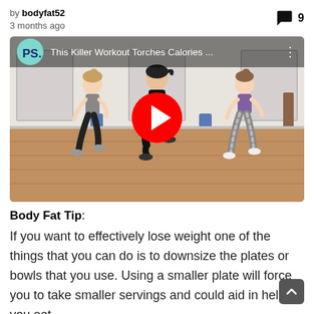by bodyfat52
3 months ago
9
[Figure (screenshot): YouTube video thumbnail titled 'This Killer Workout Torches Calories ...' showing three women doing cardio exercises in a studio, with a red play button in the center and a PS (PopSugar) logo in the top left corner.]
Body Fat Tip:
If you want to effectively lose weight one of the things that you can do is to downsize the plates or bowls that you use. Using a smaller plate will force you to take smaller servings and could aid in helping you eat